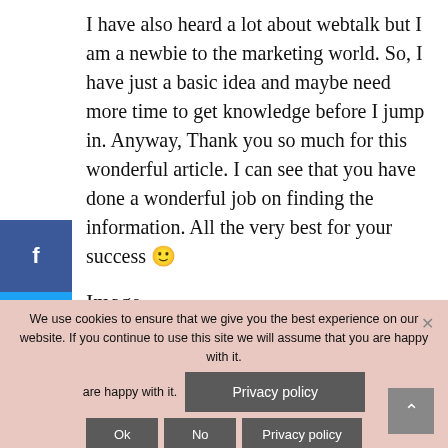I have also heard a lot about webtalk but I am a newbie to the marketing world. So, I have just a basic idea and maybe need more time to get knowledge before I jump in. Anyway, Thank you so much for this wonderful article. I can see that you have done a wonderful job on finding the information. All the very best for your success 🙂
Image
We use cookies to ensure that we give you the best experience on our website. If you continue to use this site we will assume that you are happy with it.
Reply
November 15, 2018 at 2:51 pm